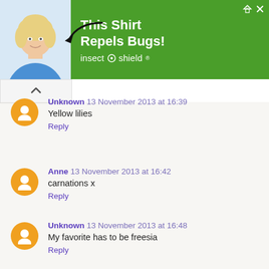[Figure (illustration): Advertisement banner: woman in blue shirt with arrow pointing to her, green background with text 'This Shirt Repels Bugs! insect shield']
Unknown  13 November 2013 at 16:39
Yellow lilies
Reply
Anne  13 November 2013 at 16:42
carnations x
Reply
Unknown  13 November 2013 at 16:48
My favorite has to be freesia
Reply